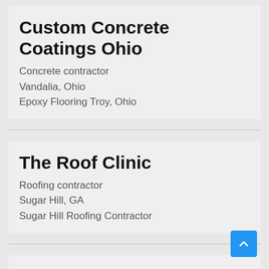Custom Concrete Coatings Ohio
Concrete contractor
Vandalia, Ohio
Epoxy Flooring Troy, Ohio
The Roof Clinic
Roofing contractor
Sugar Hill, GA
Sugar Hill Roofing Contractor
Tint Hair Studio
Hair salon